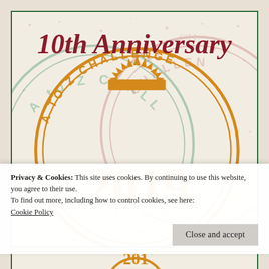[Figure (illustration): A decorative stamp-style image showing '10th Anniversary' in red cursive script at the top, with overlapping circular stamp designs in green, pink/red, and orange. The central orange stamp reads 'A to Z CHALLENGE 2019' in bold letters with a sunburst/crown design at the top of the circle. The background has a speckled beige texture.]
Privacy & Cookies: This site uses cookies. By continuing to use this website, you agree to their use.
To find out more, including how to control cookies, see here:
Cookie Policy
Close and accept